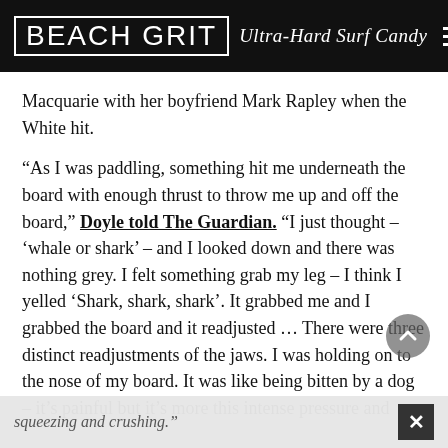BEACH GRIT Ultra-Hard Surf Candy
Macquarie with her boyfriend Mark Rapley when the White hit.
“As I was paddling, something hit me underneath the board with enough thrust to throw me up and off the board,” Doyle told The Guardian. “I just thought – ‘whale or shark’ – and I looked down and there was nothing grey. I felt something grab my leg – I think I yelled ‘Shark, shark, shark’. It grabbed me and I grabbed the board and it readjusted … There were three distinct readjustments of the jaws. I was holding on to the nose of my board. It was like being bitten by a dog – it’s painful but it’s more this intense pressure and squeezing and crushing.”
squeezing and crushing.